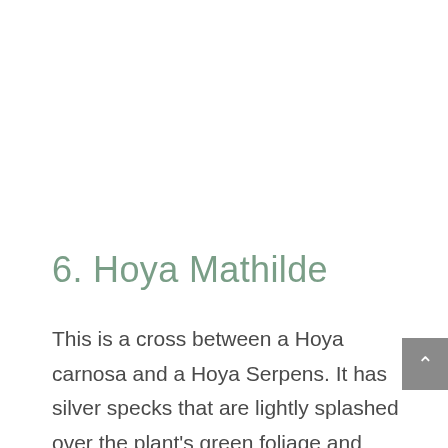6. Hoya Mathilde
This is a cross between a Hoya carnosa and a Hoya Serpens. It has silver specks that are lightly splashed over the plant's green foliage and produces sweetly scented flowers. It makes an easy houseplant, ideally suited for pots